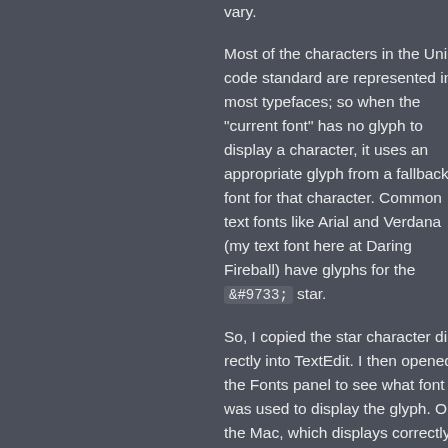vary.
Most of the characters in the Unicode standard are represented in most typefaces; so when the "current font" has no glyph for a character, it uses an appropriate glyph from a fallback font for that character. Common text fonts like Arial and Verdana (my text font here at Daring Fireball) have glyphs for the &#9733; star.
So, I copied the star character directly into TextEdit. I then opened the Fonts panel to see what was used to display the glyph. On the Mac, which displays correctly, the font for the star was Hiragino Kaku Gothic, a Japanese sans serif.1 On the system that displayed wrong, the font was Mshtakan, an Armenian serif font.
So, the problem is that when Mshtakan is set as the "current font" doesn't contain the black star character, it uses a glyph from Mshtakan rather than from Hiragino Kaku Gothic.